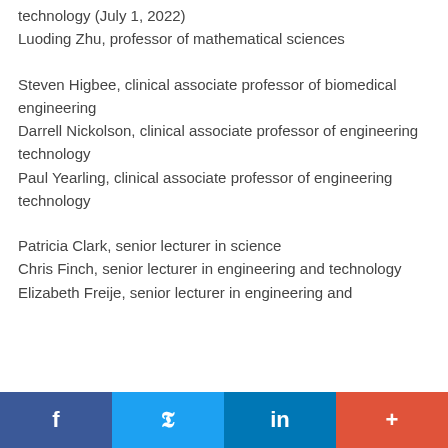technology (July 1, 2022)
Luoding Zhu, professor of mathematical sciences
Steven Higbee, clinical associate professor of biomedical engineering
Darrell Nickolson, clinical associate professor of engineering technology
Paul Yearling, clinical associate professor of engineering technology
Patricia Clark, senior lecturer in science
Chris Finch, senior lecturer in engineering and technology
Elizabeth Freije, senior lecturer in engineering and